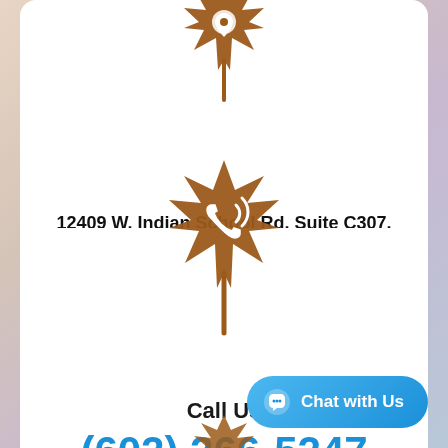[Figure (illustration): Brown maple leaf icon with location pin overlay, partially visible at top]
12409 W. Indian School Rd, Suite C307, Avondale, Arizona, 85392 United States
[Figure (illustration): Brown maple leaf icon with phone/call icon overlay]
Call Us
(602) 266-5247
[Figure (illustration): Chat with Us button with speech bubble icon]
[Figure (illustration): Brown maple leaf icon partially visible at bottom]